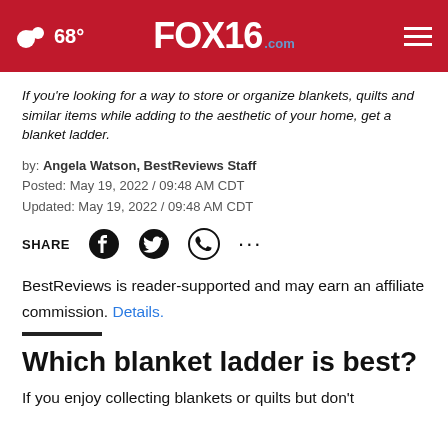68° FOX16.com
If you're looking for a way to store or organize blankets, quilts and similar items while adding to the aesthetic of your home, get a blanket ladder.
by: Angela Watson, BestReviews Staff
Posted: May 19, 2022 / 09:48 AM CDT
Updated: May 19, 2022 / 09:48 AM CDT
SHARE
BestReviews is reader-supported and may earn an affiliate commission. Details.
Which blanket ladder is best?
If you enjoy collecting blankets or quilts but don't